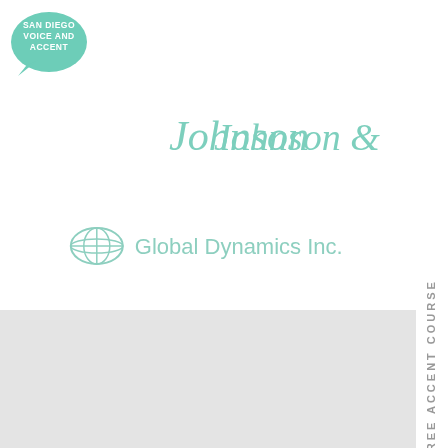[Figure (logo): San Diego Voice and Accent speech bubble logo in teal/mint color, top left corner]
[Figure (logo): Johnson & Johnson cursive script logo in mint/teal color]
[Figure (logo): Global Dynamics Inc. logo with globe grid icon and text in mint/teal color]
[Figure (logo): BD (Becton Dickinson) logo with sun/person circle icon and bold BD text in teal color]
[Figure (logo): Janssen logo with italic text and stylized J mark in mint/teal color]
FREE ACCENT COURSE